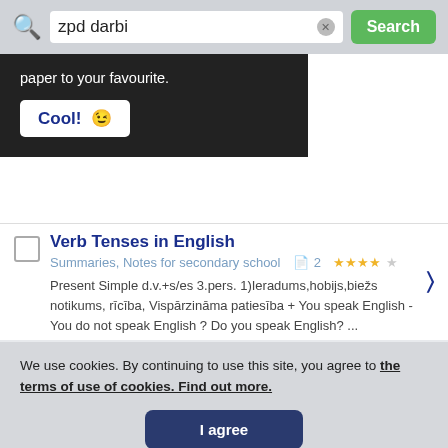[Figure (screenshot): Search bar with query 'zpd darbi', clear button, and green Search button]
paper to your favourite.
... iespeja realizēties īpaša darbībā .
Cool! 😉
... mu , sēdzienu ...
Verb Tenses in English
Summaries, Notes for secondary school   2  ★★★★☆
Present Simple d.v.+s/es 3.pers. 1)Ieradums,hobijs,biežs notikums, rīcība, Vispārzināma patiesība + You speak English - You do not speak English ? Do you speak English? ...
We use cookies. By continuing to use this site, you agree to the terms of use of cookies. Find out more.
I agree